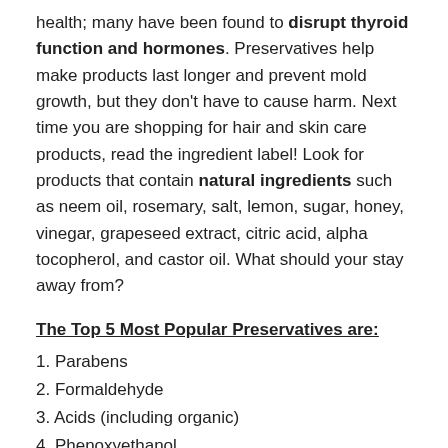health; many have been found to disrupt thyroid function and hormones. Preservatives help make products last longer and prevent mold growth, but they don't have to cause harm. Next time you are shopping for hair and skin care products, read the ingredient label! Look for products that contain natural ingredients such as neem oil, rosemary, salt, lemon, sugar, honey, vinegar, grapeseed extract, citric acid, alpha tocopherol, and castor oil. What should your stay away from?
The Top 5 Most Popular Preservatives are:
1. Parabens
2. Formaldehyde
3. Acids (including organic)
4. Phenoxyethanol
5. Isolthiazolinones